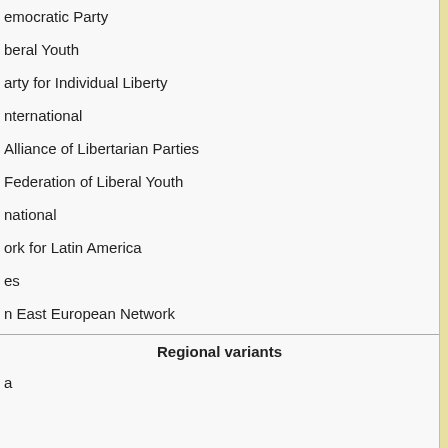emocratic Party
beral Youth
arty for Individual Liberty
nternational
Alliance of Libertarian Parties
Federation of Liberal Youth
national
ork for Latin America
es
n East European Network
Regional variants
a